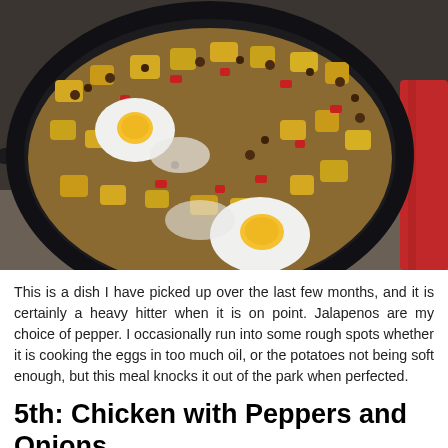[Figure (photo): A cast iron skillet containing a hash dish with diced potatoes, red bell peppers, ground meat, and fried eggs cooked sunny side up. A red cloth or pot holder is visible on the right side.]
This is a dish I have picked up over the last few months, and it is certainly a heavy hitter when it is on point. Jalapenos are my choice of pepper. I occasionally run into some rough spots whether it is cooking the eggs in too much oil, or the potatoes not being soft enough, but this meal knocks it out of the park when perfected.
5th: Chicken with Peppers and Onions